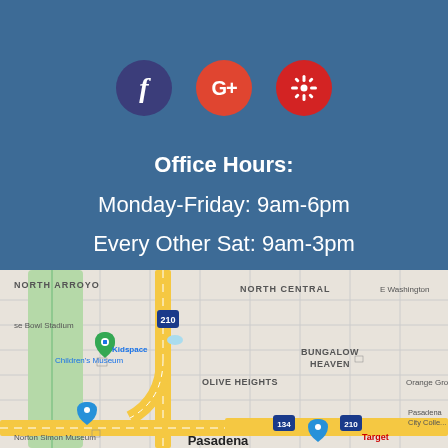[Figure (other): Social media icons: Facebook (dark blue circle with 'f'), Google+ (red circle with 'G+'), Yelp (red circle with Yelp burst logo)]
Office Hours:
Monday-Friday: 9am-6pm
Every Other Sat: 9am-3pm
[Figure (map): Google Maps screenshot showing Pasadena, CA area including North Arroyo, North Central, Bungalow Heaven, Olive Heights neighborhoods, Highway 210 and 134, Kidspace Children's Museum, Norton Simon Museum, Rose Bowl Stadium, and Pasadena City College]